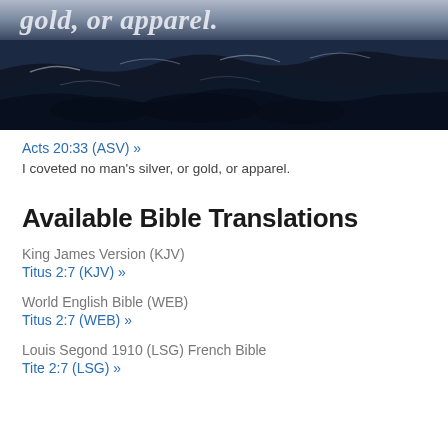[Figure (photo): Dark ocean waves photograph with italic text overlay reading 'gold, or apparel.' in light italic font at top]
Acts 20:33 (ASV) »
I coveted no man's silver, or gold, or apparel.
Available Bible Translations
King James Version (KJV)
Titus 2:7 (KJV) »
World English Bible (WEB)
Titus 2:7 (WEB) »
Louis Segond 1910 (LSG) French Bible
Tite 2:7 (LSG) »